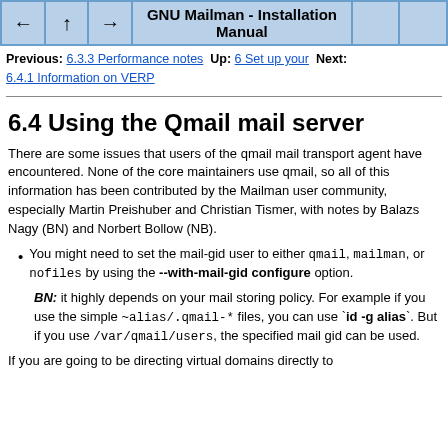GNU Mailman - Installation Manual
Previous: 6.3.3 Performance notes Up: 6 Set up your Next: 6.4.1 Information on VERP
6.4 Using the Qmail mail server
There are some issues that users of the qmail mail transport agent have encountered. None of the core maintainers use qmail, so all of this information has been contributed by the Mailman user community, especially Martin Preishuber and Christian Tismer, with notes by Balazs Nagy (BN) and Norbert Bollow (NB).
You might need to set the mail-gid user to either qmail, mailman, or nofiles by using the --with-mail-gid configure option.
BN: it highly depends on your mail storing policy. For example if you use the simple ~alias/.qmail-* files, you can use `id -g alias`. But if you use /var/qmail/users, the specified mail gid can be used.
If you are going to be directing virtual domains directly to